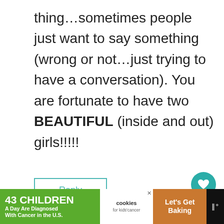thing…sometimes people just want to say something (wrong or not…just trying to have a conversation). You are fortunate to have two BEAUTIFUL (inside and out) girls!!!!!
Reply
Emily says:
[Figure (screenshot): Advertisement bar at bottom: '43 CHILDREN A Day Are Diagnosed With Cancer in the U.S.' with cookies for kids' cancer logo and 'Let's Get Baking' section]